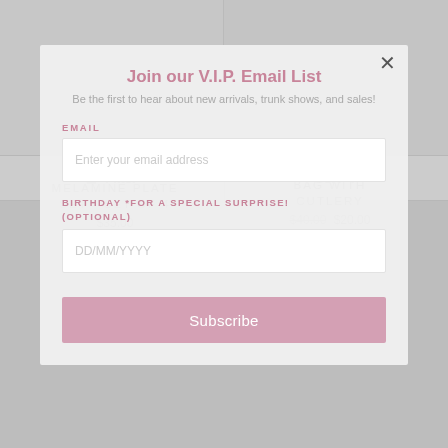MELAMINE PLATE SET - SET OF 4
$35.00
BAG WITH CUTLERY
$40.00 $20.00
Join our V.I.P. Email List
Be the first to hear about new arrivals, trunk shows, and sales!
EMAIL
Enter your email address
BIRTHDAY *FOR A SPECIAL SURPRISE! (OPTIONAL)
DD/MM/YYYY
Subscribe